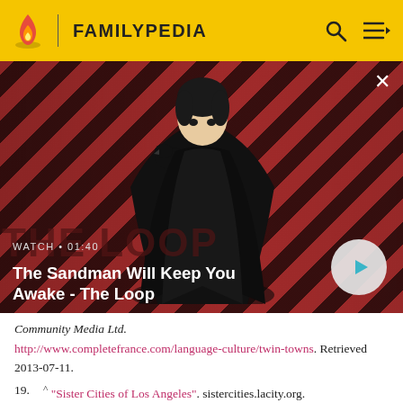FAMILYPEDIA
[Figure (screenshot): Video thumbnail showing a dark-cloaked figure with a raven on their shoulder against a red diagonal striped background. Text overlay reads: WATCH • 01:40 / The Sandman Will Keep You Awake - The Loop. A circular play button is visible on the right. A close (×) button is in the top right corner.]
Community Media Ltd.
http://www.completefrance.com/language-culture/twin-towns. Retrieved 2013-07-11.
19. ^ "Sister Cities of Los Angeles". sistercities.lacity.org. http://sistercities.lacity.org/. Retrieved 2011-09-29.